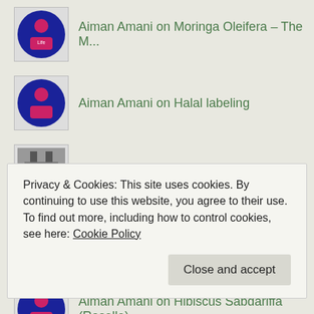Aiman Amani on Moringa Oleifera – The M...
Aiman Amani on Halal labeling
ekasugianto87 on Halal labeling
Ana on Moringa Oleifera – The M...
Aiman Amani on Hibiscus Sabdariffa (Roselle)
Aiman Amani on A Moringa Tree FOUND!
Privacy & Cookies: This site uses cookies. By continuing to use this website, you agree to their use.
To find out more, including how to control cookies, see here: Cookie Policy
Close and accept